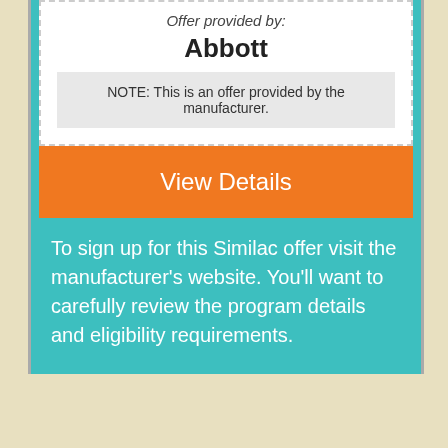Offer provided by:
Abbott
NOTE: This is an offer provided by the manufacturer.
View Details
To sign up for this Similac offer visit the manufacturer's website. You'll want to carefully review the program details and eligibility requirements.